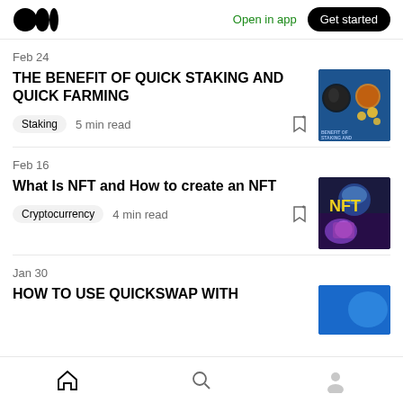Medium logo | Open in app | Get started
Feb 24
THE BENEFIT OF QUICK STAKING AND QUICK FARMING
Staking  5 min read
[Figure (photo): Thumbnail image for article about staking and farming, showing a pig and coins on blue background]
Feb 16
What Is NFT and How to create an NFT
Cryptocurrency  4 min read
[Figure (photo): Thumbnail image for NFT article, showing NFT text with colorful digital art on dark background]
Jan 30
HOW TO USE QUICKSWAP WITH
[Figure (photo): Thumbnail image for QuickSwap article, blue background]